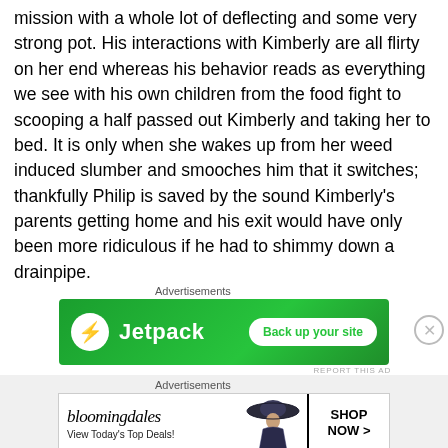mission with a whole lot of deflecting and some very strong pot. His interactions with Kimberly are all flirty on her end whereas his behavior reads as everything we see with his own children from the food fight to scooping a half passed out Kimberly and taking her to bed. It is only when she wakes up from her weed induced slumber and smooches him that it switches; thankfully Philip is saved by the sound Kimberly’s parents getting home and his exit would have only been more ridiculous if he had to shimmy down a drainpipe.
[Figure (infographic): Jetpack advertisement banner with green background, Jetpack logo and 'Back up your site' button]
[Figure (infographic): Bloomingdale's advertisement banner with logo, woman in hat image, and 'SHOP NOW >' button]